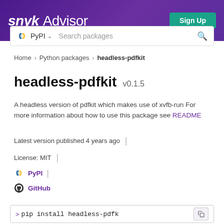Snyk Advisor  Sign Up
PyPI  Search packages
Home > Python packages > headless-pdfkit
headless-pdfkit v0.1.5
A headless version of pdfkit which makes use of xvfb-run For more information about how to use this package see README
Latest version published 4 years ago  |
License: MIT  |
PyPI  |
GitHub
> pip install headless-pdfk